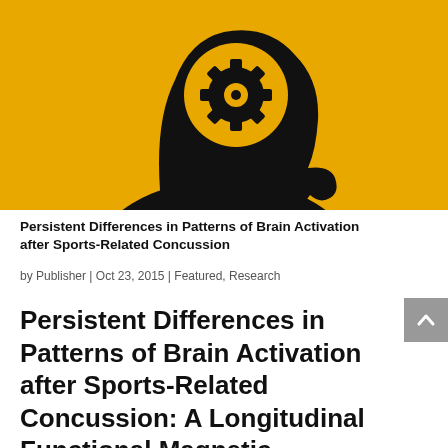[Figure (illustration): Yellow background with black silhouette of a human head in profile, with a glowing circular area in the brain region containing a black gear/cog icon, representing cognitive or brain mechanisms.]
Persistent Differences in Patterns of Brain Activation after Sports-Related Concussion
by Publisher | Oct 23, 2015 | Featured, Research
Persistent Differences in Patterns of Brain Activation after Sports-Related Concussion: A Longitudinal Functional Magnetic Resonance Imaging Study